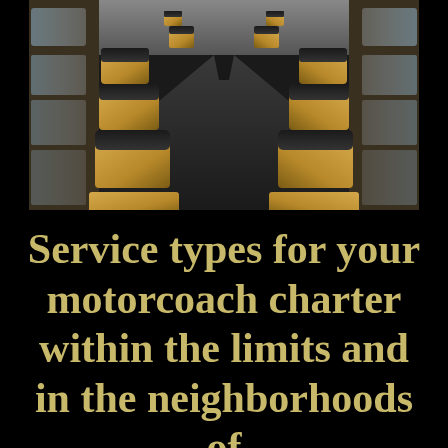[Figure (photo): Interior of a motorcoach bus showing rows of tan/beige and black leather seats extending down a center aisle toward the front of the bus, with windows on either side letting in daylight.]
Service types for your motorcoach charter within the limits and in the neighborhoods of